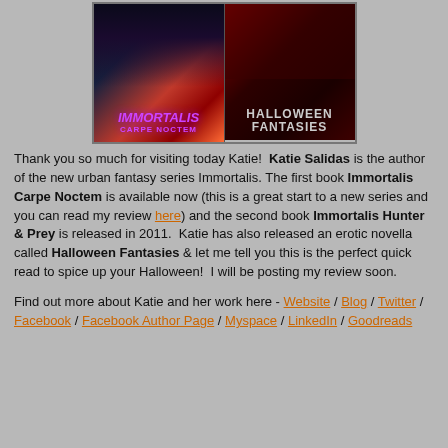[Figure (illustration): Two book covers side by side: 'Immortalis Carpe Noctem' on the left with purple/dark background showing a woman figure and Las Vegas skyline, and 'Halloween Fantasies' on the right with dark red background showing a man and woman.]
Thank you so much for visiting today Katie!  Katie Salidas is the author of the new urban fantasy series Immortalis. The first book Immortalis Carpe Noctem is available now (this is a great start to a new series and you can read my review here) and the second book Immortalis Hunter & Prey is released in 2011.  Katie has also released an erotic novella called Halloween Fantasies & let me tell you this is the perfect quick read to spice up your Halloween!  I will be posting my review soon.
Find out more about Katie and her work here - Website / Blog / Twitter / Facebook / Facebook Author Page / Myspace / LinkedIn / Goodreads